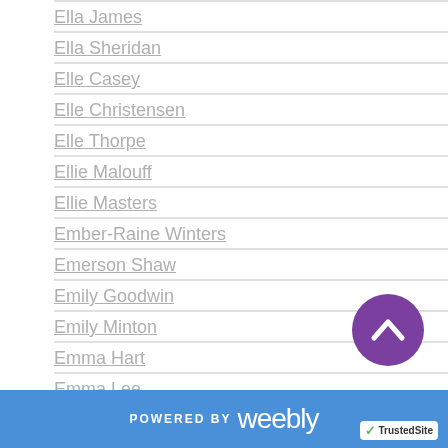Ella James
Ella Sheridan
Elle Casey
Elle Christensen
Elle Thorpe
Ellie Malouff
Ellie Masters
Ember-Raine Winters
Emerson Shaw
Emily Goodwin
Emily Minton
Emma Hart
Emma Lee
Emmanuella De Maupassant
Emma Renshaw
Emme Burton
ERic Gober
POWERED BY weebly  TrustedSite